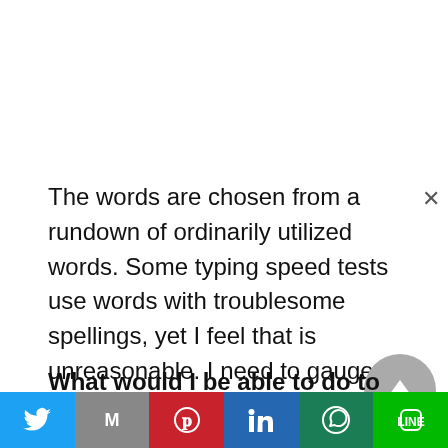The words are chosen from a rundown of ordinarily utilized words. Some typing speed tests use words with troublesome spellings, yet I feel that is unreasonable. I need to gauge typing speed, not understanding expertise! The absence of troublesome words in this test additionally empowers this site to be utilized as a typing game for kids.
What would I be able to do to imporove my typing speed?